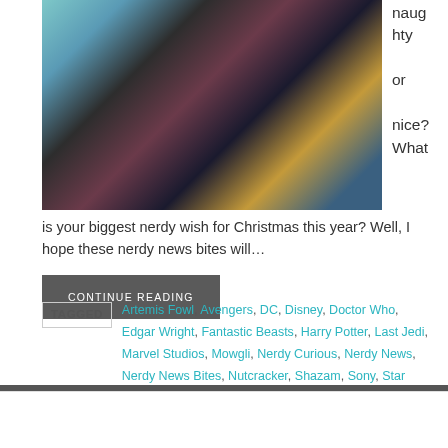[Figure (photo): Collage of movie/TV characters including a woman in blue dress, a man in plaid jacket, a dinosaur scene, and a figure in brown costume]
naughty or nice? What is your biggest nerdy wish for Christmas this year? Well, I hope these nerdy news bites will…
CONTINUE READING
TAGGED  Artemis Fowl, Avengers, DC, Disney, Doctor Who, Edgar Wright, Fantastic Beasts, Harry Potter, Last Jedi, Marvel Studios, Mowgli, Nerdy Curious, Nerdy News, Nerdy News Bites, Nutcracker, Shazam, Sony, Star Wars, The Jungle Book, Venom, warner bros, Zac Levi
NO COMMENTS
TOP NERDY 10: NEWS BITES (11.12.14